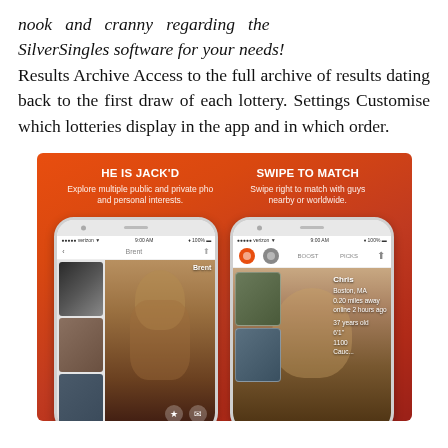nook and cranny regarding the SilverSingles software for your needs! Results Archive Access to the full archive of results dating back to the first draw of each lottery. Settings Customise which lotteries display in the app and in which order.
[Figure (screenshot): App promotional banner with orange gradient background showing two smartphone screenshots side by side. Left phone shows 'HE IS JACK'D' with text 'Explore multiple public and private pho and personal interests.' Right phone shows 'SWIPE TO MATCH' with text 'Swipe right to match with guys nearby or worldwide.' Both phones display a dating app interface.]